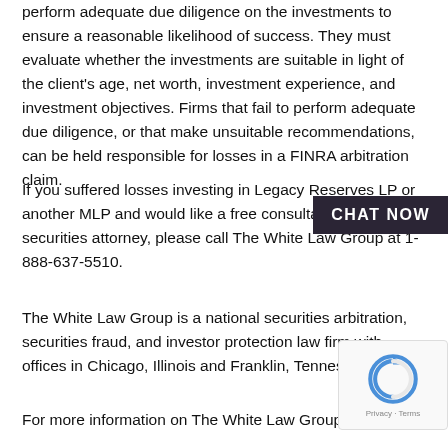perform adequate due diligence on the investments to ensure a reasonable likelihood of success. They must evaluate whether the investments are suitable in light of the client's age, net worth, investment experience, and investment objectives. Firms that fail to perform adequate due diligence, or that make unsuitable recommendations, can be held responsible for losses in a FINRA arbitration claim.
If you suffered losses investing in Legacy Reserves LP or another MLP and would like a free consultation with a securities attorney, please call The White Law Group at 1-888-637-5510.
The White Law Group is a national securities arbitration, securities fraud, and investor protection law firm with offices in Chicago, Illinois and Franklin, Tennessee.
For more information on The White Law Group, visit our website at...